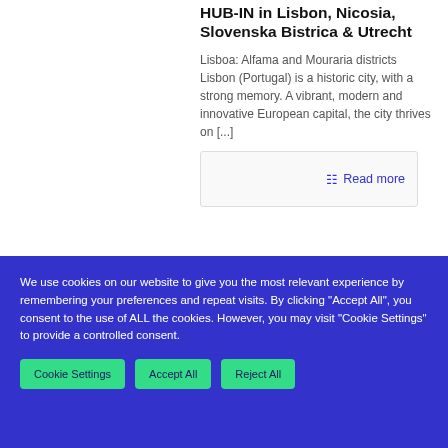HUB-IN in Lisbon, Nicosia, Slovenska Bistrica & Utrecht
Lisboa: Alfama and Mouraria districts Lisbon (Portugal) is a historic city, with a strong memory. A vibrant, modern and innovative European capital, the city thrives on [...]
Read more
We use cookies on our website to give you the most relevant experience by remembering your preferences and repeat visits. By clicking "Accept All", you consent to the use of ALL the cookies. However, you may visit "Cookie Settings" to provide a controlled consent.
Cookie Settings
Accept All
Reject All